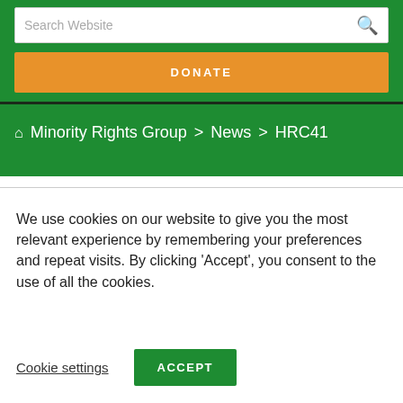Search Website
DONATE
Minority Rights Group > News > HRC41
We use cookies on our website to give you the most relevant experience by remembering your preferences and repeat visits. By clicking 'Accept', you consent to the use of all the cookies.
Cookie settings
ACCEPT